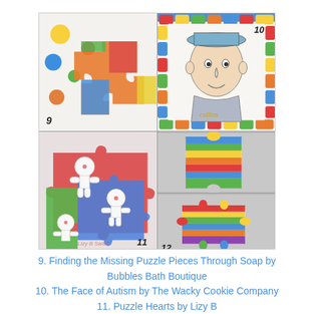[Figure (photo): A 2x2 grid of photos numbered 9-12. Top-left (9): colorful puzzle piece soaps with polka-dot background. Top-right (10): hand-drawn portrait of a person named Collins framed by colorful puzzle piece border. Bottom-left (11): decorated puzzle piece cookies by Lizy B. Bottom-right (12): split into two cells showing a stacked crayon puzzle piece (top) and a colorful layered puzzle cake piece (bottom).]
9. Finding the Missing Puzzle Pieces Through Soap by Bubbles Bath Boutique
10. The Face of Autism by The Wacky Cookie Company
11. Puzzle Hearts by Lizy B
12. Puzzle Cake by Twins Plus One Goodies